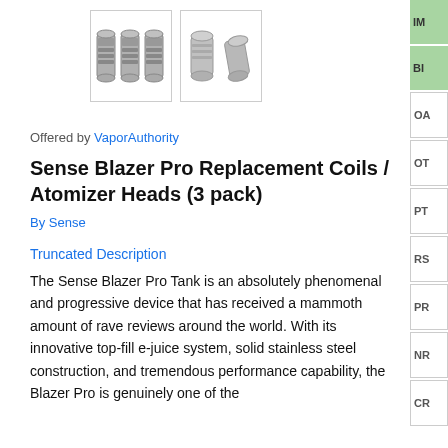[Figure (photo): Two product thumbnail images of Sense Blazer Pro Replacement Coils. First thumbnail shows three cylindrical coil heads side by side. Second thumbnail shows two coil heads from a different angle.]
Offered by VaporAuthority
Sense Blazer Pro Replacement Coils / Atomizer Heads (3 pack)
By Sense
Truncated Description
The Sense Blazer Pro Tank is an absolutely phenomenal and progressive device that has received a mammoth amount of rave reviews around the world. With its innovative top-fill e-juice system, solid stainless steel construction, and tremendous performance capability, the Blazer Pro is genuinely one of the